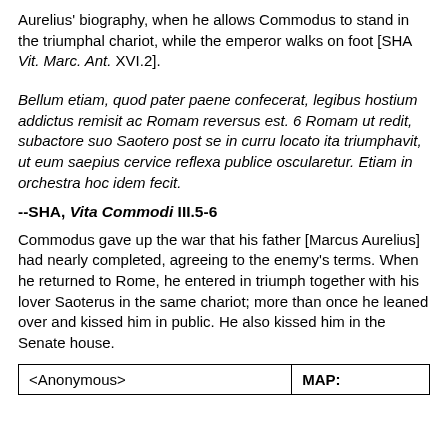Aurelius' biography, when he allows Commodus to stand in the triumphal chariot, while the emperor walks on foot [SHA Vit. Marc. Ant. XVI.2].
Bellum etiam, quod pater paene confecerat, legibus hostium addictus remisit ac Romam reversus est. 6 Romam ut redit, subactore suo Saotero post se in curru locato ita triumphavit, ut eum saepius cervice reflexa publice oscularetur. Etiam in orchestra hoc idem fecit.
--SHA, Vita Commodi III.5-6
Commodus gave up the war that his father [Marcus Aurelius] had nearly completed, agreeing to the enemy's terms. When he returned to Rome, he entered in triumph together with his lover Saoterus in the same chariot; more than once he leaned over and kissed him in public. He also kissed him in the Senate house.
| <Anonymous> | MAP: |
| --- | --- |